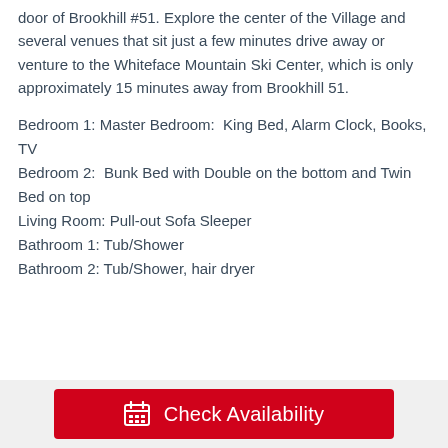door of Brookhill #51. Explore the center of the Village and several venues that sit just a few minutes drive away or venture to the Whiteface Mountain Ski Center, which is only approximately 15 minutes away from Brookhill 51.
Bedroom 1: Master Bedroom:  King Bed, Alarm Clock, Books, TV
Bedroom 2:  Bunk Bed with Double on the bottom and Twin Bed on top
Living Room: Pull-out Sofa Sleeper
Bathroom 1: Tub/Shower
Bathroom 2: Tub/Shower, hair dryer
[Figure (other): Red 'Check Availability' button with calendar icon]